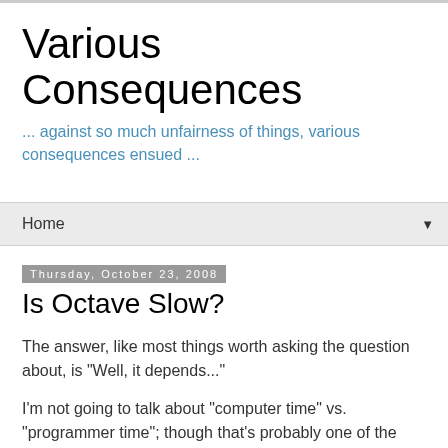Various Consequences
... against so much unfairness of things, various consequences ensued ...
Home
Thursday, October 23, 2008
Is Octave Slow?
The answer, like most things worth asking the question about, is "Well, it depends..."
I'm not going to talk about "computer time" vs. "programmer time"; though that's probably one of the most important considerations most of the time (check out Paul Graham's